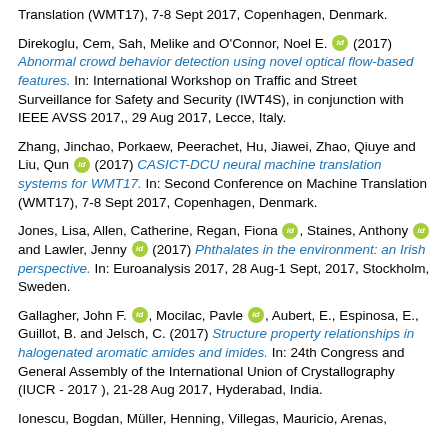Translation (WMT17), 7-8 Sept 2017, Copenhagen, Denmark.
Direkoglu, Cem, Sah, Melike and O'Connor, Noel E. [orcid] (2017) Abnormal crowd behavior detection using novel optical flow-based features. In: International Workshop on Traffic and Street Surveillance for Safety and Security (IWT4S), in conjunction with IEEE AVSS 2017,, 29 Aug 2017, Lecce, Italy.
Zhang, Jinchao, Porkaew, Peerachet, Hu, Jiawei, Zhao, Qiuye and Liu, Qun [orcid] (2017) CASICT-DCU neural machine translation systems for WMT17. In: Second Conference on Machine Translation (WMT17), 7-8 Sept 2017, Copenhagen, Denmark.
Jones, Lisa, Allen, Catherine, Regan, Fiona [orcid], Staines, Anthony [orcid] and Lawler, Jenny [orcid] (2017) Phthalates in the environment: an Irish perspective. In: Euroanalysis 2017, 28 Aug-1 Sept, 2017, Stockholm, Sweden.
Gallagher, John F. [orcid], Mocilac, Pavle [orcid], Aubert, E., Espinosa, E., Guillot, B. and Jelsch, C. (2017) Structure property relationships in halogenated aromatic amides and imides. In: 24th Congress and General Assembly of the International Union of Crystallography (IUCR - 2017 ), 21-28 Aug 2017, Hyderabad, India.
Ionescu, Bogdan, Müller, Henning, Villegas, Mauricio, Arenas,